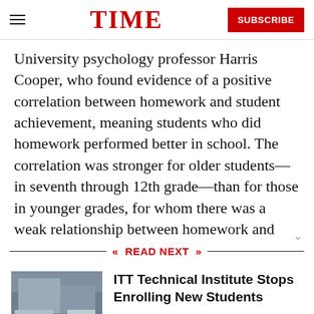TIME  SUBSCRIBE
University psychology professor Harris Cooper, who found evidence of a positive correlation between homework and student achievement, meaning students who did homework performed better in school. The correlation was stronger for older students—in seventh through 12th grade—than for those in younger grades, for whom there was a weak relationship between homework and
READ NEXT
ITT Technical Institute Stops Enrolling New Students